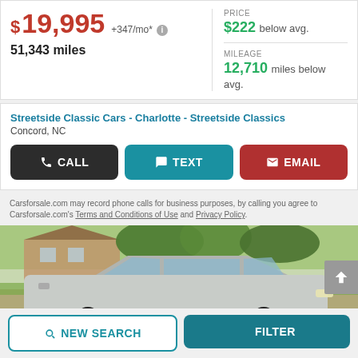$19,995 +347/mo* 51,343 miles
PRICE $222 below avg. MILEAGE 12,710 miles below avg.
Streetside Classic Cars - Charlotte - Streetside Classics
Concord, NC
CALL TEXT EMAIL
Carsforsale.com may record phone calls for business purposes, by calling you agree to Carsforsale.com's Terms and Conditions of Use and Privacy Policy.
[Figure (photo): Classic car parked in a driveway with a house and trees in the background]
NEW SEARCH   FILTER